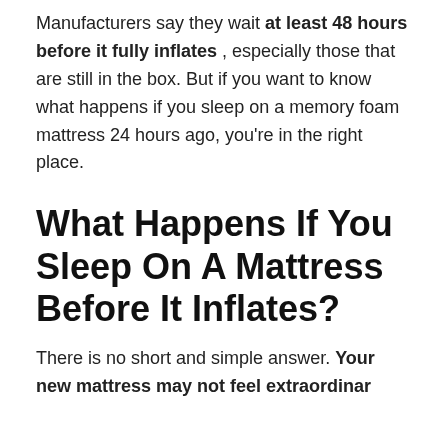Manufacturers say they wait at least 48 hours before it fully inflates , especially those that are still in the box. But if you want to know what happens if you sleep on a memory foam mattress 24 hours ago, you're in the right place.
What Happens If You Sleep On A Mattress Before It Inflates?
There is no short and simple answer. Your new mattress may not feel extraordinary m...